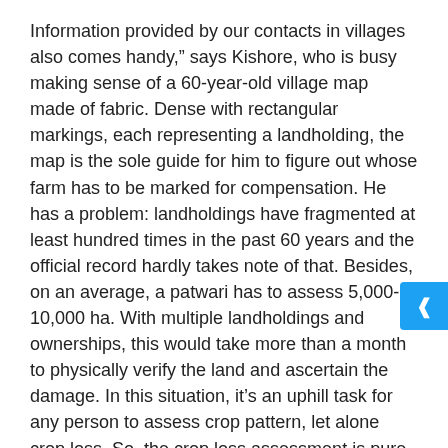Information provided by our contacts in villages also comes handy," says Kishore, who is busy making sense of a 60-year-old village map made of fabric. Dense with rectangular markings, each representing a landholding, the map is the sole guide for him to figure out whose farm has to be marked for compensation. He has a problem: landholdings have fragmented at least hundred times in the past 60 years and the official record hardly takes note of that. Besides, on an average, a patwari has to assess 5,000-10,000 ha. With multiple landholdings and ownerships, this would take more than a month to physically verify the land and ascertain the damage. In this situation, it’s an uphill task for any person to assess crop pattern, let alone crop loss. So, the crop loss assessment is pure guess work. Based on this guess work of the patwari, the Union Ministry of Agriculture decides crop damage and disburses compensation. No wonder then the always contention on compensation and damage assessment.
Such archaic way of crop loss assessment also affects